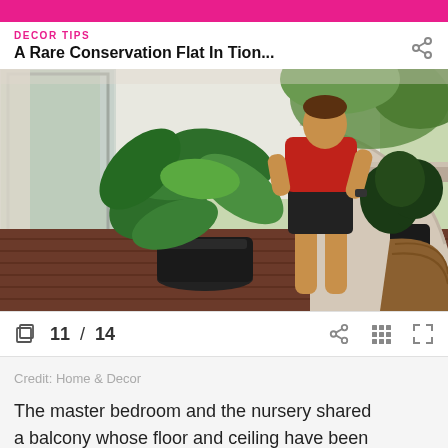DECOR TIPS
A Rare Conservation Flat In Tion...
[Figure (photo): A person in a red top and black shorts stands on a balcony with timber-look flooring, next to a large green tropical plant in a black pot. There is a curved concrete feature wall, wicker chair, and lush greenery in the background.]
11 / 14
Credit: Home & Decor
The master bedroom and the nursery shared a balcony whose floor and ceiling have been revamped with timber-look tiles. It is now a cosy